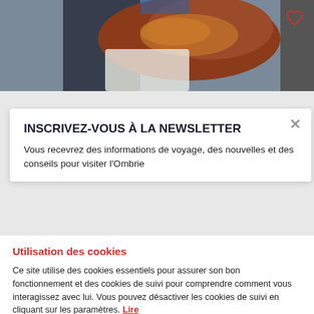[Figure (photo): Partial view of an animal (horse or similar) being handled or examined, background shows person in dark clothing, reddish-brown coloring visible.]
INSCRIVEZ-VOUS À LA NEWSLETTER
Vous recevrez des informations de voyage, des nouvelles et des conseils pour visiter l'Ombrie
Utilisation des cookies
Ce site utilise des cookies essentiels pour assurer son bon fonctionnement et des cookies de suivi pour comprendre comment vous interagissez avec lui. Vous pouvez désactiver les cookies de suivi en cliquant sur les paramètres. Lire
Accepter tous les cookies
label.cookies.secondary_btn.text